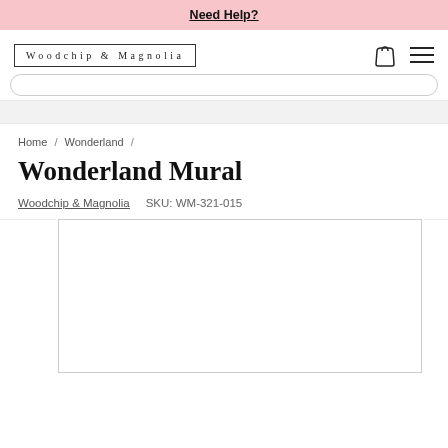Need Help?
[Figure (logo): Woodchip & Magnolia logo in bordered box with wide letter-spacing]
Home / Wonderland /
Wonderland Mural
Woodchip & Magnolia   SKU: WM-321-015
[Figure (photo): Product image area showing a mostly white/blank mural image panel]